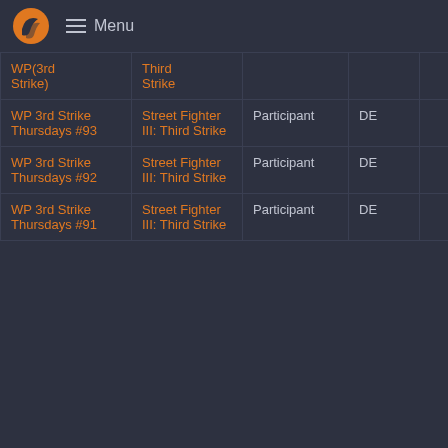Menu
| Tournament | Game | Participant | DE |  |  |
| --- | --- | --- | --- | --- | --- |
| WP(3rd Strike) | Third Strike |  |  |  |  |
| WP 3rd Strike Thursdays #93 | Street Fighter III: Third Strike | Participant | DE | 8 | 11 |
| WP 3rd Strike Thursdays #92 | Street Fighter III: Third Strike | Participant | DE | 6 | 11 |
| WP 3rd Strike Thursdays #91 | Street Fighter III: Third Strike | Participant | DE | 6 | 10 |